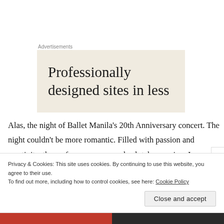Advertisements
[Figure (other): Advertisement banner with beige background showing text: Professionally designed sites in less]
Alas, the night of Ballet Manila's 20th Anniversary concert. The night couldn't be more romantic. Filled with passion and creativity, the performances were absolutely amazing. I was beyond thrilled to see the hard work and journey the company has gone through.
Privacy & Cookies: This site uses cookies. By continuing to use this website, you agree to their use.
To find out more, including how to control cookies, see here: Cookie Policy
Close and accept